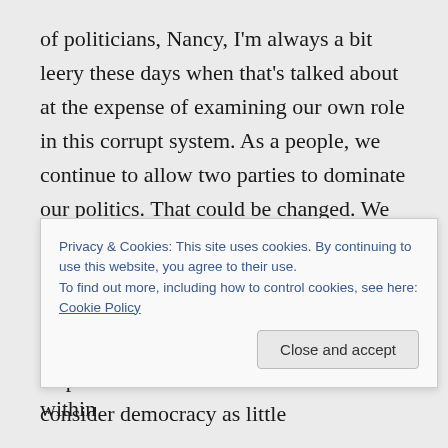of politicians, Nancy, I'm always a bit leery these days when that's talked about at the expense of examining our own role in this corrupt system. As a people, we continue to allow two parties to dominate our politics. That could be changed. We continue to fail to educate ourselves. We continue to watch TV, absorb ourselves in the internet, and choose entertainment over information. We could all be more responsible citizens. We continue to consider democracy as little
Privacy & Cookies: This site uses cookies. By continuing to use this website, you agree to their use.
To find out more, including how to control cookies, see here: Cookie Policy
resiliency, fail to work and participate within